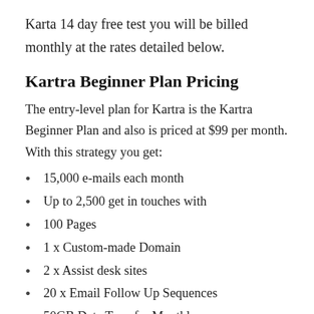Karta 14 day free test you will be billed monthly at the rates detailed below.
Kartra Beginner Plan Pricing
The entry-level plan for Kartra is the Kartra Beginner Plan and also is priced at $99 per month. With this strategy you get:
15,000 e-mails each month
Up to 2,500 get in touches with
100 Pages
1 x Custom-made Domain
2 x Assist desk sites
20 x Email Follow Up Sequences
50GB Data Transfer Monthly